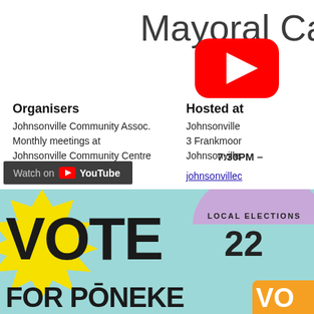Mayoral Candi
[Figure (logo): YouTube logo icon (red rounded rectangle with white play triangle)]
Organisers
Johnsonville Community Assoc.
Monthly meetings at
Johnsonville Community Centre
johnsonville.org.nz
Hosted at
Johnsonville
3 Frankmoor
Johnsonville
johnsonvillec
7:30PM –
[Figure (infographic): Local Elections 22 promotional banner with 'VOTE FOR PONEKE' in large bold text on yellow starburst background with light blue background. Purple semicircle badge with 'LOCAL ELECTIONS 22'. Orange element at bottom right with 'VO'.]
[Figure (screenshot): YouTube 'Watch on YouTube' dark bar overlay]